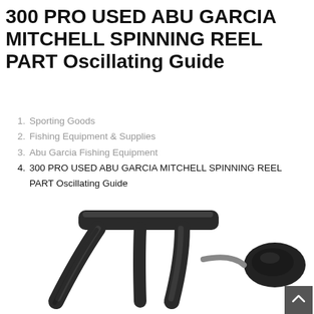300 PRO USED ABU GARCIA MITCHELL SPINNING REEL PART Oscillating Guide
1. Sporting Goods
2. Fishing Equipment & Supplies
3. Abu Garcia Fishing Equipment
4. 300 PRO USED ABU GARCIA MITCHELL SPINNING REEL PART Oscillating Guide
[Figure (photo): Close-up photograph of a black spinning reel oscillating guide part (T-shaped or Y-shaped plastic/metal component) against a white background. A round black knob is visible to the right.]